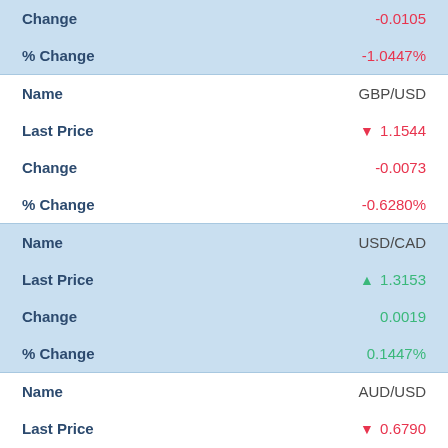| Field | Value |
| --- | --- |
| Change | -0.0105 |
| % Change | -1.0447% |
| Name | GBP/USD |
| Last Price | ▼ 1.1544 |
| Change | -0.0073 |
| % Change | -0.6280% |
| Name | USD/CAD |
| Last Price | ▲ 1.3153 |
| Change | 0.0019 |
| % Change | 0.1447% |
| Name | AUD/USD |
| Last Price | ▼ 0.6790 |